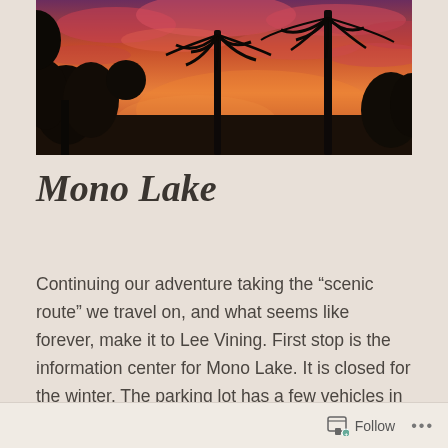[Figure (photo): Sunset photo showing silhouettes of palm trees and other trees against a vivid orange-pink-purple sky with dramatic clouds]
Mono Lake
Continuing our adventure taking the “scenic route” we travel on, and what seems like forever, make it to Lee Vining. First stop is the information center for Mono Lake. It is closed for the winter. The parking lot has a few vehicles in it; people resting or having a snack. The bathrooms are closed, but the garbage cans are available and I take a little
Follow ...